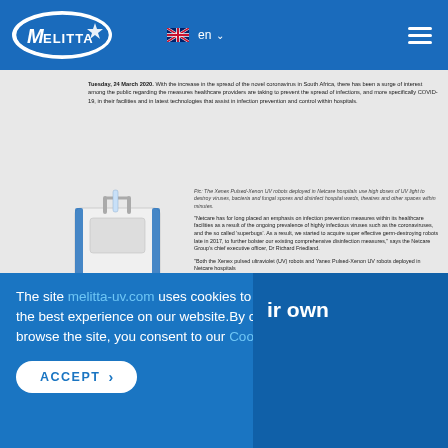Melitta — en (language selector)
Tuesday, 24 March 2020. With the increase in the spread of the novel coronavirus in South Africa, there has been a surge of interest among the public regarding the measures healthcare providers are taking to prevent the spread of infections, and more specifically COVID-19, in their facilities and in latest technologies that assist in infection prevention and control within hospitals.
[Figure (photo): Xenex Pulsed-Xenon UV disinfection robot on wheels, white and blue colored, deployed in Netcare hospitals]
Pic: The Xenex Pulsed-Xenon UV robots deployed in Netcare hospitals use high doses of UV light to destroy viruses, bacteria and fungal spores and disinfect hospital wards, theatres and other spaces within minutes.
"Netcare has for long placed an emphasis on infection prevention measures within its healthcare facilities as a result of the ongoing prevalence of highly infectious viruses such as the coronaviruses, and the so called 'superbugs'. As a result, we started to acquire super effective germ-destroying robots late in 2017, to further bolster our existing comprehensive disinfection measures," says the Netcare Group's chief executive officer, Dr Richard Friedland.
"Both the Xenex pulsed ultraviolet (UV) robots and Yanex Pulsed-Xenon UV robots deployed in Netcare hospitals
The site melitta-uv.com uses cookies to ensure you get the best experience on our website. By continuing to browse the site, you consent to our Cookie Policy.
ir own
ACCEPT >